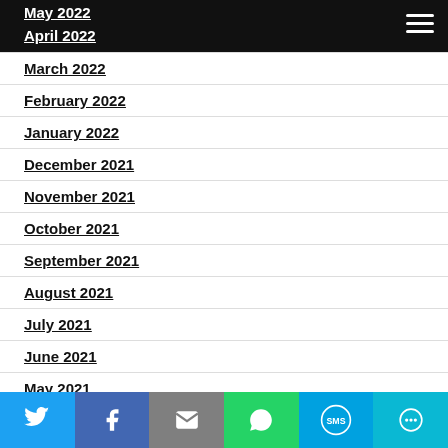May 2022 | April 2022 (navigation header with hamburger menu)
May 2022
April 2022
March 2022
February 2022
January 2022
December 2021
November 2021
October 2021
September 2021
August 2021
July 2021
June 2021
May 2021
April 2021
March 2021
February 2021
Twitter | Facebook | Email | WhatsApp | SMS | More